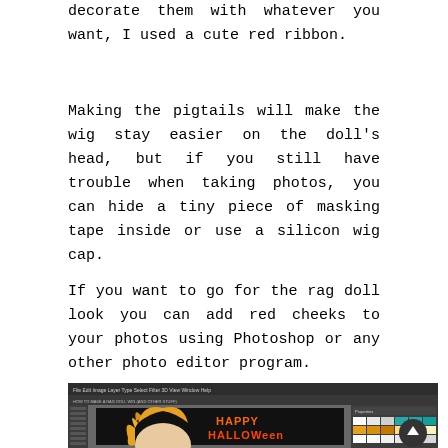decorate them with whatever you want, I used a cute red ribbon.
Making the pigtails will make the wig stay easier on the doll's head, but if you still have trouble when taking photos, you can hide a tiny piece of masking tape inside or use a silicon wig cap.
If you want to go for the rag doll look you can add red cheeks to your photos using Photoshop or any other photo editor program.
[Figure (screenshot): Screenshot of Adobe Photoshop software showing a doll with yellow/orange hair and 'HAPPY HALLOWeen' text on a black background with a scroll-to-top button overlay.]